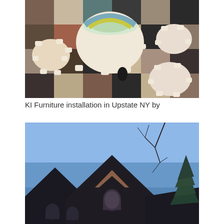[Figure (photo): Aerial/overhead view of a dining area with round white tables and white chairs arranged on a colorful checkered floor with brown, tan, dark, and teal/blue-green square tiles. The view is from directly above.]
KI Furniture installation in Upstate NY by
[Figure (photo): Low-angle upward view of a brick building's roofline and gabled peaks against a blue sky, with bare tree branches and a pine tree visible on the right side.]